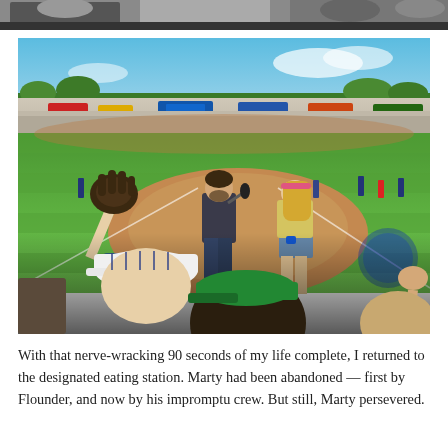[Figure (photo): Top strip showing partial view of people at a baseball event, cropped at top of page]
[Figure (photo): Outdoor baseball stadium scene. A man in a plaid shirt holds a microphone on the field while a woman in denim shorts stands nearby. In the foreground, a crowd watches; a child in a pinstripe cap raises a baseball glove. The stadium field, outfield buildings with advertising signage, and a bright sky are visible in the background.]
With that nerve-wracking 90 seconds of my life complete, I returned to the designated eating station. Marty had been abandoned — first by Flounder, and now by his impromptu crew. But still, Marty persevered.